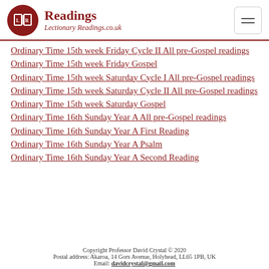Readings – LectionaryReadings.co.uk
Ordinary Time 15th week Friday Cycle II All pre-Gospel readings
Ordinary Time 15th week Friday Gospel
Ordinary Time 15th week Saturday Cycle I All pre-Gospel readings
Ordinary Time 15th week Saturday Cycle II All pre-Gospel readings
Ordinary Time 15th week Saturday Gospel
Ordinary Time 16th Sunday Year A All pre-Gospel readings
Ordinary Time 16th Sunday Year A First Reading
Ordinary Time 16th Sunday Year A Psalm
Ordinary Time 16th Sunday Year A Second Reading
Copyright Professor David Crystal © 2020
Postal address: Akaroa, 14 Gors Avenue, Holyhead, LL65 1PB, UK
Email: davidcrystal@gmail.com